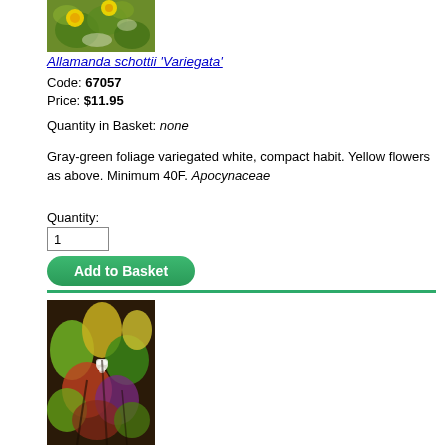[Figure (photo): Photo of Allamanda schottii 'Variegata' plant with yellow flowers and variegated green-white foliage]
Allamanda schottii 'Variegata'
Code: 67057
Price: $11.95
Quantity in Basket: none
Gray-green foliage variegated white, compact habit. Yellow flowers as above. Minimum 40F. Apocynaceae
Quantity:
1
Add to Basket
[Figure (photo): Photo of a second plant with colorful foliage in green, yellow, red, and purple hues]